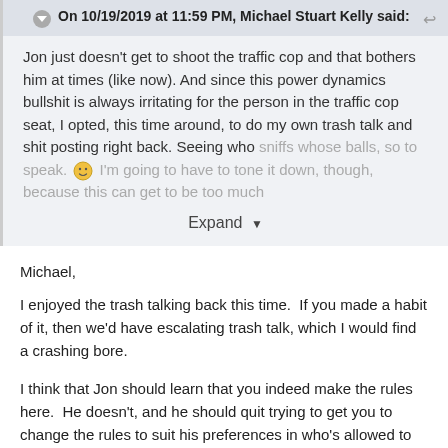On 10/19/2019 at 11:59 PM, Michael Stuart Kelly said:
Jon just doesn't get to shoot the traffic cop and that bothers him at times (like now). And since this power dynamics bullshit is always irritating for the person in the traffic cop seat, I opted, this time around, to do my own trash talk and shit posting right back. Seeing who sniffs whose balls, so to speak. 🙂 I'm going to have to tone it down, though, because this can get to be too much
Expand
Michael,
I enjoyed the trash talking back this time.  If you made a habit of it, then we'd have escalating trash talk, which I would find a crashing bore.
I think that Jon should learn that you indeed make the rules here.  He doesn't, and he should quit trying to get you to change the rules to suit his preferences in who's allowed to post here and who isn't.  Specifically, the issue for Jon is William's presence